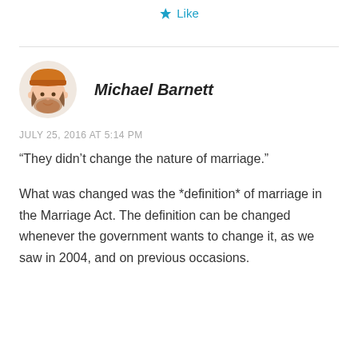Like
Michael Barnett
JULY 25, 2016 AT 5:14 PM
“They didn’t change the nature of marriage.”

What was changed was the *definition* of marriage in the Marriage Act. The definition can be changed whenever the government wants to change it, as we saw in 2004, and on previous occasions.